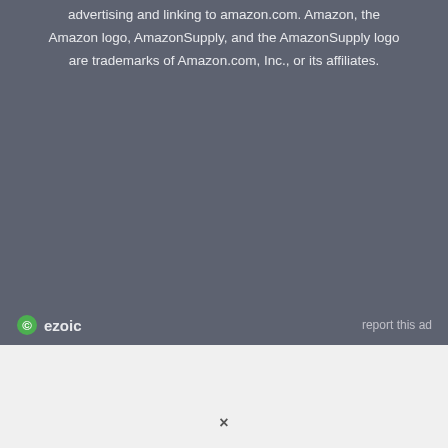advertising and linking to amazon.com. Amazon, the Amazon logo, AmazonSupply, and the AmazonSupply logo are trademarks of Amazon.com, Inc., or its affiliates.
[Figure (logo): Ezoic logo with circular icon and 'ezoic' text in green/white, followed by 'report this ad' link on the right]
×